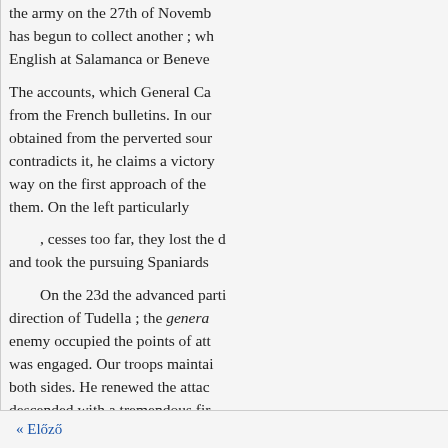the army on the 27th of Novemb... has begun to collect another ; wh... English at Salamanca or Beneve...
The accounts, which General Ca... from the French bulletins. In our... obtained from the perverted sour... contradicts it, he claims a victory... way on the first approach of the... them. On the left particularly
, cesses too far, they lost the d... and took the pursuing Spaniards...
On the 23d the advanced parti... direction of Tudella ; the genera... enemy occupied the points of att... was engaged. Our troops maintai... both sides. He renewed the attac... descended with a tremendous fir... obstinate conflict he was compel... left, when another division of the... troops in the rear. This decided th... While this was going forward
« Előző